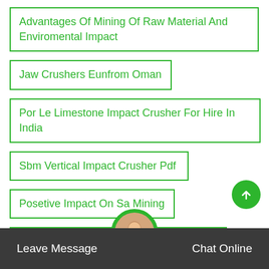Advantages Of Mining Of Raw Material And Enviromental Impact
Jaw Crushers Eunfrom Oman
Por Le Limestone Impact Crusher For Hire In India
Sbm Vertical Impact Crusher Pdf
Posetive Impact On Sa Mining
Crusher Impact Crusher Cone Crusher
Leave Message   Chat Online